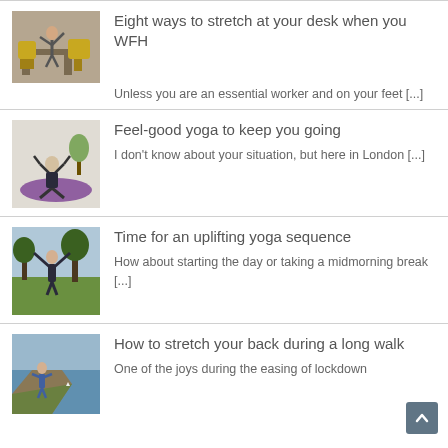[Figure (photo): Person stretching at a desk in a home/office setting with yellow chairs]
Eight ways to stretch at your desk when you WFH
Unless you are an essential worker and on your feet [...]
[Figure (photo): Person sitting in yoga pose with arms raised in a living room]
Feel-good yoga to keep you going
I don't know about your situation, but here in London [...]
[Figure (photo): Person standing outdoors in a park with arms raised]
Time for an uplifting yoga sequence
How about starting the day or taking a midmorning break [...]
[Figure (photo): Person standing near a lake or coastal area on a cliff]
How to stretch your back during a long walk
One of the joys during the easing of lockdown